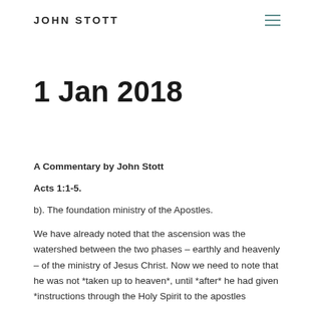JOHN STOTT
1 Jan 2018
A Commentary by John Stott
Acts 1:1-5.
b). The foundation ministry of the Apostles.
We have already noted that the ascension was the watershed between the two phases – earthly and heavenly – of the ministry of Jesus Christ. Now we need to note that he was not *taken up to heaven*, until *after* he had given *instructions through the Holy Spirit to the apostles